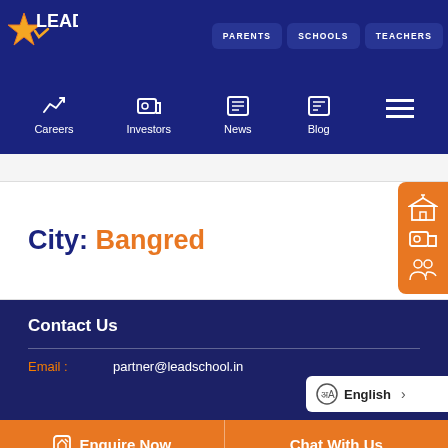[Figure (logo): LEAD star logo in yellow and orange on dark blue background]
PARENTS   SCHOOLS   TEACHERS
[Figure (infographic): Secondary navigation bar with icons: Careers, Investors, News, Blog, and hamburger menu]
City: Bangred
[Figure (infographic): Orange side widget with school, investor, and people icons]
Contact Us
Email :   partner@leadschool.in
[Figure (infographic): Language selector badge showing English with arrow]
Enquire Now   Chat With Us